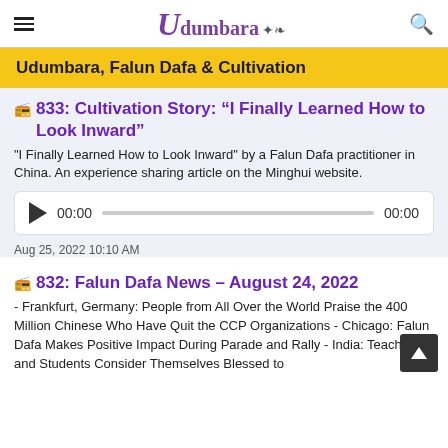Udumbara (logo)
Udumbara, Falun Dafa & Cultivation
833: Cultivation Story: “I Finally Learned How to Look Inward”
"I Finally Learned How to Look Inward" by a Falun Dafa practitioner in China. An experience sharing article on the Minghui website.
[Figure (other): Audio player with play button, 00:00 timestamp, progress bar, and 00:00 end time]
Aug 25, 2022 10:10 AM
832: Falun Dafa News – August 24, 2022
- Frankfurt, Germany: People from All Over the World Praise the 400 Million Chinese Who Have Quit the CCP Organizations - Chicago: Falun Dafa Makes Positive Impact During Parade and Rally - India: Teachers and Students Consider Themselves Blessed to